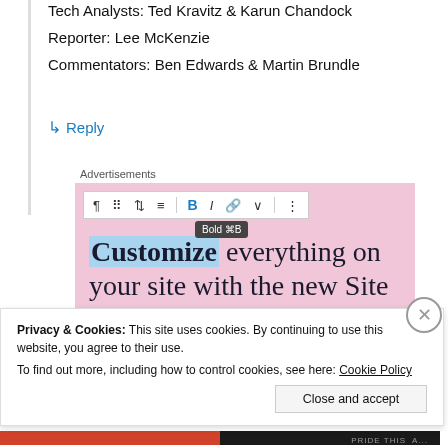Tech Analysts: Ted Kravitz & Karun Chandock
Reporter: Lee McKenzie
Commentators: Ben Edwards & Martin Brundle
↳ Reply
Advertisements
[Figure (screenshot): Advertisement screenshot showing a WordPress block editor toolbar with Bold button tooltip reading 'Bold ⌘B', and ad text 'Customize everything on your site with the new Site Editor.' on a pink background]
Privacy & Cookies: This site uses cookies. By continuing to use this website, you agree to their use.
To find out more, including how to control cookies, see here: Cookie Policy
Close and accept